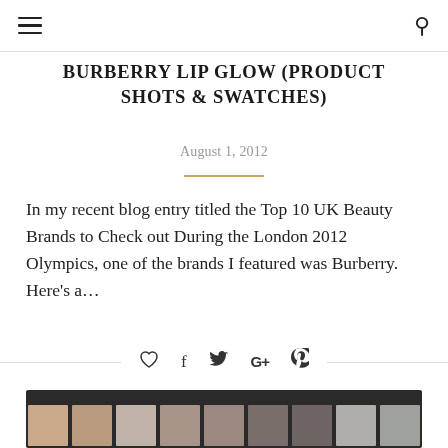Navigation bar with hamburger menu and search icon
BURBERRY LIP GLOW (PRODUCT SHOTS & SWATCHES)
August 1, 2012
In my recent blog entry titled the Top 10 UK Beauty Brands to Check out During the London 2012 Olympics, one of the brands I featured was Burberry. Here's a…
[Figure (other): Social media icons row: heart (like), Facebook, Twitter, Google+, Pinterest]
[Figure (photo): Close-up photo of a makeup eyeshadow palette with various neutral shades including beige, taupe, grey, and brown colors arranged in a grid]